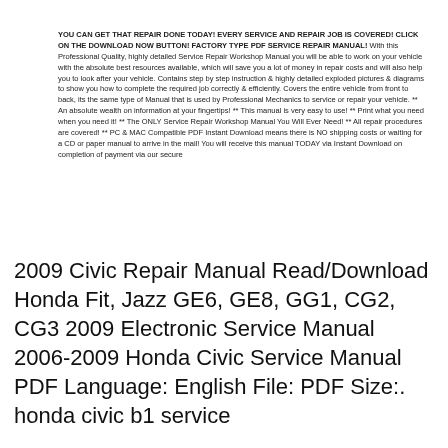YOU CAN GET THAT REPAIR DONE TODAY! EVERY SERVICE AND REPAIR JOB IS COVERED! CLICK ON THE DOWNLOAD NOW BUTTON! FACTORY TYPE PDF SERVICE REPAIR MANUAL! With this Professional Quality, highly detailed Service Repair Workshop Manual you will be able to work on your vehicle with the absolute best resources available, which will save you a lot of money in repair costs and will also help you to look after your vehicle. Contains step by step instruction & highly detailed exploded pictures & diagrams to show you how to complete the required job correctly & efficiently. Covers the entire vehicle from front to back, its the same type of Manual that is used by Professional Mechanics to service or repair your vehicle. ** An absolute wealth on information at your fingertips! ** This manual is very easy to use! ** Print what you need when you need it! ** The ONLY Service Repair Workshop Manual You Will Ever Need! ** All repair procedures are covered! ** PC & MAC Compatible PDF Instant Download means there is NO shipping costs or waiting for a CD or paper manual to arrive in the mail! You will receive this manual TODAY via Instant Download on completion of payment via our secure
2009 Civic Repair Manual Read/Download Honda Fit, Jazz GE6, GE8, GG1, CG2, CG3 2009 Electronic Service Manual 2006-2009 Honda Civic Service Manual PDF Language: English File: PDF Size:. honda civic b1 service